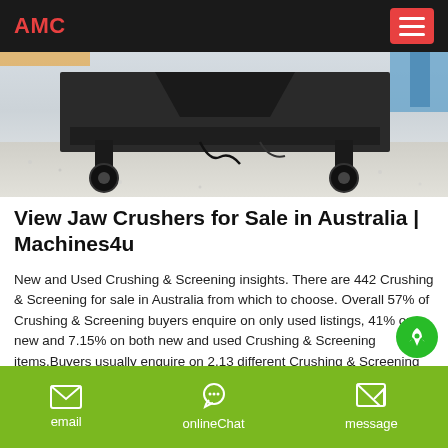AMC
[Figure (photo): Underside/bottom of a jaw crusher or screening machine photographed outdoors on gravel ground, showing the chassis and mechanical components from a low angle.]
View Jaw Crushers for Sale in Australia | Machines4u
New and Used Crushing & Screening insights. There are 442 Crushing & Screening for sale in Australia from which to choose. Overall 57% of Crushing & Screening buyers enquire on only used listings, 41% on new and 7.15% on both new and used Crushing & Screening items.Buyers usually enquire on 2.13 different Crushing & Screening classifieds before organising finance for Crushing & Screening.
email   onlineChat   message